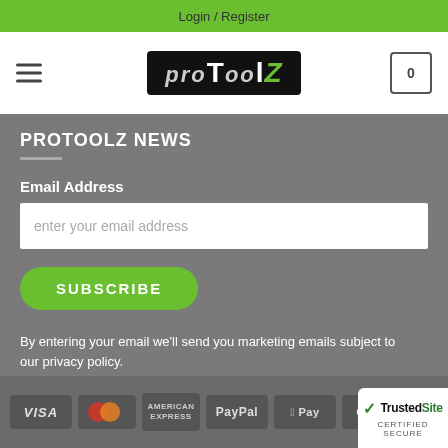Login / Register
[Figure (logo): ProToolZ logo — black rounded rectangle with white and italic text reading 'proToolZ']
PROTOOLZ NEWS
Email Address
enter your email address
SUBSCRIBE
By entering your email we'll send you marketing emails subject to our privacy policy.
You can unsubscribe at anytime.
[Figure (infographic): Payment method logos in footer: VISA, Mastercard, American Express, PayPal, Apple Pay, Google Pay, and TrustedSite Certified Secure badge]